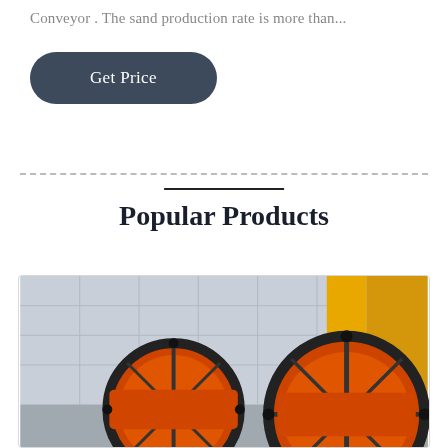Conveyor . The sand production rate is more than...
Get Price
Popular Products
[Figure (photo): Industrial orange ball mill machinery with large gear rings, photographed outdoors in front of a factory building. Two large orange cylindrical ball mills with black gear rings are visible.]